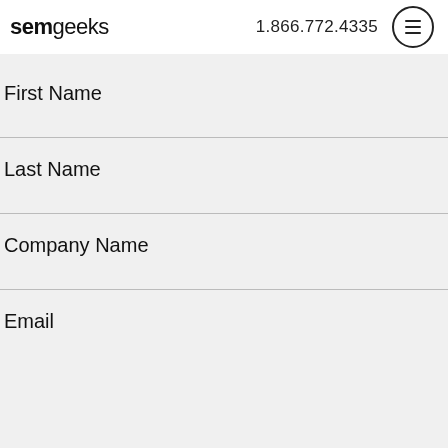semgeeks  1.866.772.4335
First Name
Last Name
Company Name
Email